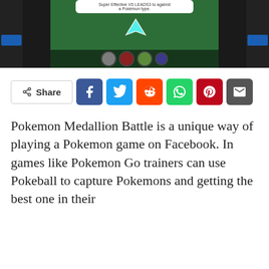[Figure (screenshot): Screenshot of Pokemon Medallion Battle game interface on Facebook, showing a game battle screen with a popup tooltip, a glowing arrow cursor, Pokemon balls at the bottom, and dark sidebars.]
[Figure (infographic): Social share buttons row: Share label button, then Facebook (blue), Twitter (light blue), Reddit (orange), WhatsApp (green), Pinterest (red), Email (gray) icon buttons.]
Pokemon Medallion Battle is a unique way of playing a Pokemon game on Facebook. In games like Pokemon Go trainers can use Pokeball to capture Pokemons and getting the best one in their